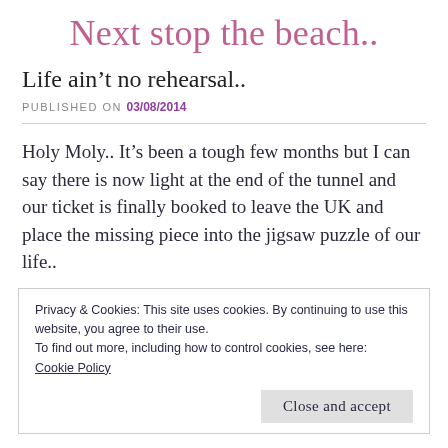Next stop the beach..
Life ain't no rehearsal..
PUBLISHED ON 03/08/2014
Holy Moly.. It's been a tough few months but I can say there is now light at the end of the tunnel and our ticket is finally booked to leave the UK and place the missing piece into the jigsaw puzzle of our life..
Privacy & Cookies: This site uses cookies. By continuing to use this website, you agree to their use.
To find out more, including how to control cookies, see here:
Cookie Policy
Close and accept